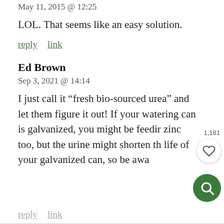May 11, 2015 @ 12:25
LOL. That seems like an easy solution.
reply   link
Ed Brown
Sep 3, 2021 @ 14:14
I just call it “fresh bio-sourced urea” and let them figure it out! If your watering can is galvanized, you might be feeding zinc too, but the urine might shorten the life of your galvanized can, so be aware
reply   link